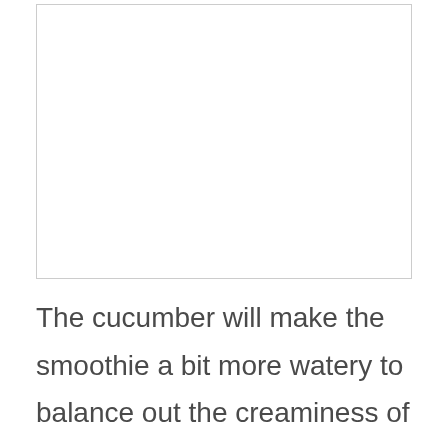[Figure (other): White rectangular image placeholder with light border]
The cucumber will make the smoothie a bit more watery to balance out the creaminess of the avocado. The spinach and mint will give you a good dose of nutrients, such as magnesium, iron, calcium, and lots of different vitamins.

An apple will give this smoothie a very